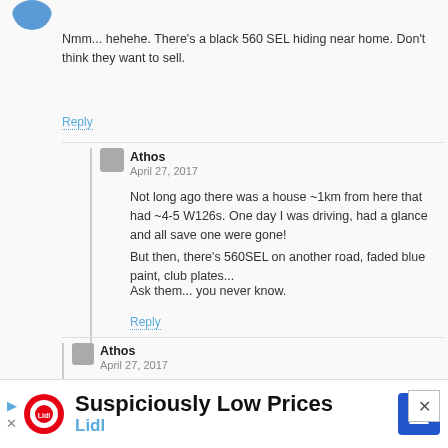[Figure (photo): Partial blue avatar image at top left]
Nmm... hehehe. There's a black 560 SEL hiding near home. Don't think they want to sell.
Reply
Athos
April 27, 2017
Not long ago there was a house ~1km from here that had ~4-5 W126s. One day I was driving, had a glance and all save one were gone!
But then, there's 560SEL on another road, faded blue paint, club plates...
Ask them... you never know.
Reply
Athos
April 27, 2017
Good thing you posted this. I snapped this one some months ago.
The blacking out of the LH tail lamp may be caused by the soot coming from the exhaust or heat degradation. The pipes are just below.
[Figure (infographic): Lidl advertisement banner at bottom: 'Suspiciously Low Prices' with Lidl logo and navigation icon]